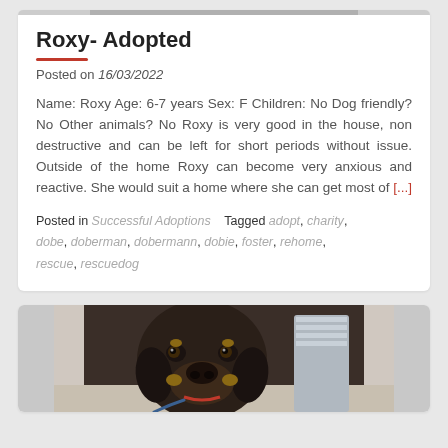Roxy- Adopted
Posted on 16/03/2022
Name: Roxy Age: 6-7 years Sex: F Children: No Dog friendly? No Other animals? No Roxy is very good in the house, non destructive and can be left for short periods without issue. Outside of the home Roxy can become very anxious and reactive. She would suit a home where she can get most of [...]
Posted in Successful Adoptions    Tagged adopt, charity, dobe, doberman, dobermann, dobie, foster, rehome, rescue, rescuedog
[Figure (photo): Photo of a Doberman dog looking at the camera from below, with a leash visible]